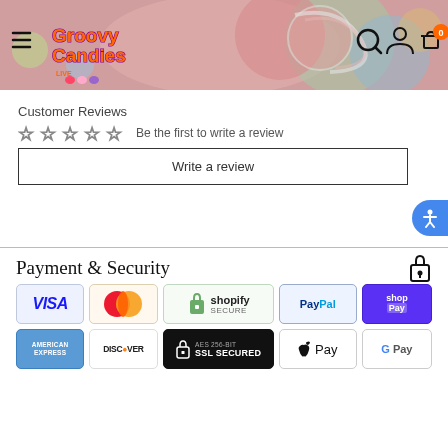[Figure (screenshot): Groovy Candies website header banner with colorful candy background, logo, hamburger menu, search icon, account icon, and cart icon with 0 badge]
Customer Reviews
☆☆☆☆☆  Be the first to write a review
Write a review
Payment & Security
[Figure (infographic): Payment method logos: Visa, MasterCard, Shopify Secure, PayPal, Shop Pay, American Express, Discover, 256-bit SSL Secured, Apple Pay, G Pay]